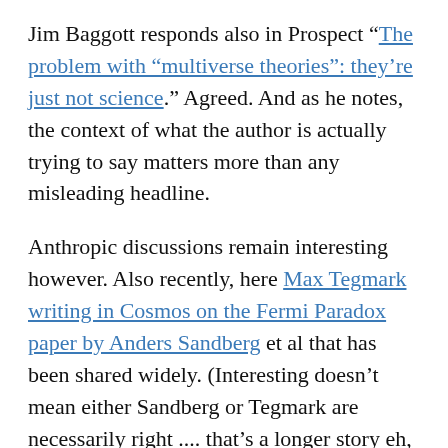Jim Baggott responds also in Prospect “The problem with “multiverse theories”: they’re just not science.” Agreed. And as he notes, the context of what the author is actually trying to say matters more than any misleading headline.
Anthropic discussions remain interesting however. Also recently, here Max Tegmark writing in Cosmos on the Fermi Paradox paper by Anders Sandberg et al that has been shared widely. (Interesting doesn’t mean either Sandberg or Tegmark are necessarily right .... that’s a longer story eh, Rick?)
Science. The original “fake news”. Sigh!